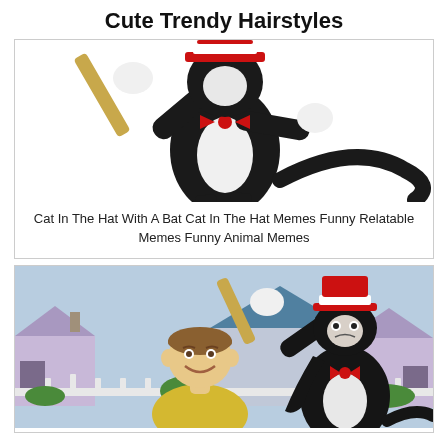Cute Trendy Hairstyles
[Figure (photo): Black and white cat character (Cat in the Hat costume) swinging a baseball bat, photo from the 2003 movie. White background, upper body and tail visible.]
Cat In The Hat With A Bat Cat In The Hat Memes Funny Relatable Memes Funny Animal Memes
[Figure (photo): Scene from Cat in the Hat movie: a boy in yellow sweater smiling in foreground, while the Cat in the Hat character in black costume swings a bat behind him. Suburban neighborhood with white fence and colorful houses in background.]